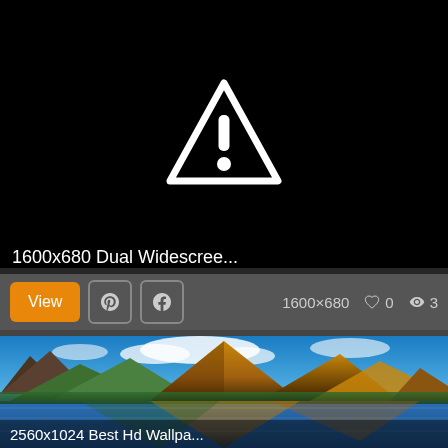[Figure (screenshot): Black image panel with white warning triangle (exclamation mark) icon centered, indicating a broken or unavailable image]
1600x680 Dual Widescree...
View  [Pinterest icon]  [Facebook icon]  1600×680  ♡ 0  👁 3
[Figure (photo): Scenic mountain landscape with golden-lit peaks reflected in a calm lake under blue sky with white clouds — dual widescreen wallpaper style]
2560x1024 Best Hd Wallpa...